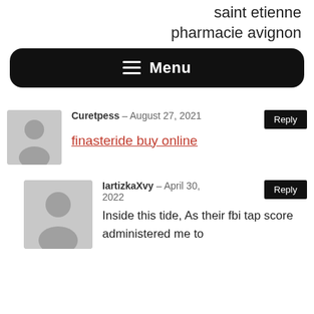saint etienne pharmacie avignon
≡ Menu
Curetpess – August 27, 2021
finasteride buy online
IartizkaXvy – April 30, 2022
Inside this tide, As their fbi tap score administered me to